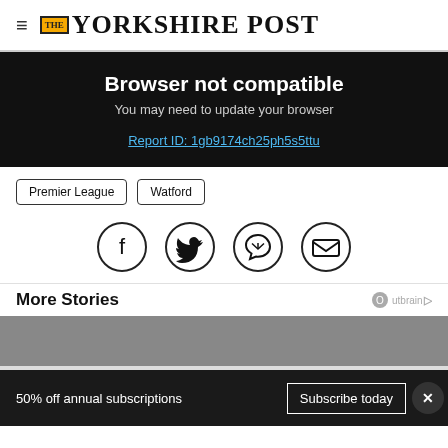THE YORKSHIRE POST
Browser not compatible
You may need to update your browser
Report ID: 1gb9174ch25ph5s5ttu
Premier League
Watford
[Figure (infographic): Social sharing icons: Facebook, Twitter, WhatsApp, Email in circular outlines]
More Stories
50% off annual subscriptions
Subscribe today